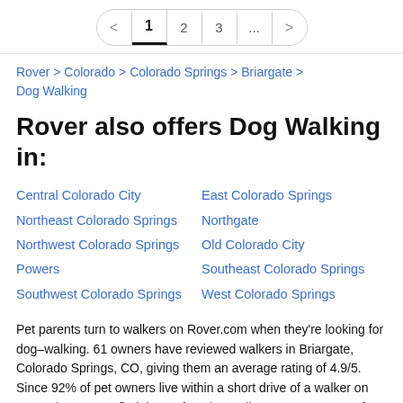< 1 2 3 ... >
Rover > Colorado > Colorado Springs > Briargate > Dog Walking
Rover also offers Dog Walking in:
Central Colorado City
Northeast Colorado Springs
Northwest Colorado Springs
Powers
Southwest Colorado Springs
East Colorado Springs
Northgate
Old Colorado City
Southeast Colorado Springs
West Colorado Springs
Pet parents turn to walkers on Rover.com when they're looking for dog–walking. 61 owners have reviewed walkers in Briargate, Colorado Springs, CO, giving them an average rating of 4.9/5. Since 92% of pet owners live within a short drive of a walker on Rover, it's easy to find the perfect dog walker near you. 95% of reviewed stays have received a perfect 5–star rating. Wondering how much you can expect to pay on Rover.com? Check out our average dog walking rates to get an idea before you start a